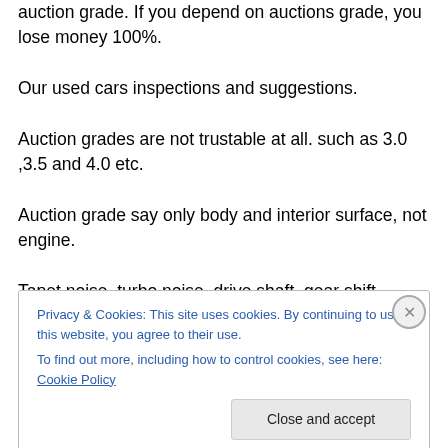auction grade. If you depend on auctions grade, you lose money 100%.
Our used cars inspections and suggestions.
Auction grades are not trustable at all. such as 3.0 ,3.5 and 4.0 etc.
Auction grade say only body and interior surface, not engine.
Tapet noise, turbo noise, drive shaft, gear shift feeligs, emission colors, Oil condition
,taking off oil cap. Engine sudden rotations,drive shaft,alternator good or bad, radiator condition,
Privacy & Cookies: This site uses cookies. By continuing to use this website, you agree to their use.
To find out more, including how to control cookies, see here: Cookie Policy